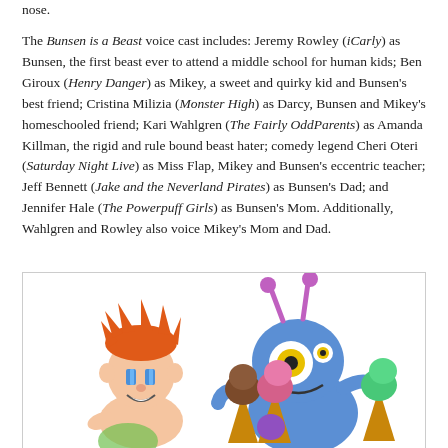nose. The Bunsen is a Beast voice cast includes: Jeremy Rowley (iCarly) as Bunsen, the first beast ever to attend a middle school for human kids; Ben Giroux (Henry Danger) as Mikey, a sweet and quirky kid and Bunsen's best friend; Cristina Milizia (Monster High) as Darcy, Bunsen and Mikey's homeschooled friend; Kari Wahlgren (The Fairly OddParents) as Amanda Killman, the rigid and rule bound beast hater; comedy legend Cheri Oteri (Saturday Night Live) as Miss Flap, Mikey and Bunsen's eccentric teacher; Jeff Bennett (Jake and the Neverland Pirates) as Bunsen's Dad; and Jennifer Hale (The Powerpuff Girls) as Bunsen's Mom. Additionally, Wahlgren and Rowley also voice Mikey's Mom and Dad.
[Figure (illustration): Cartoon illustration showing characters from Bunsen is a Beast: a red-haired boy (Mikey) on the left, and a blue monster beast (Bunsen) on the right holding multiple ice cream cones.]